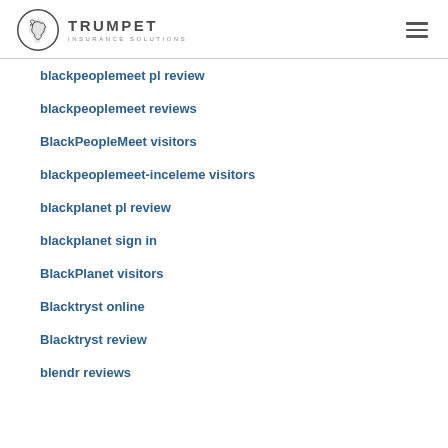TRUMPET INSURANCE SOLUTIONS
blackpeoplemeet pl review
blackpeoplemeet reviews
BlackPeopleMeet visitors
blackpeoplemeet-inceleme visitors
blackplanet pl review
blackplanet sign in
BlackPlanet visitors
Blacktryst online
Blacktryst review
blendr reviews